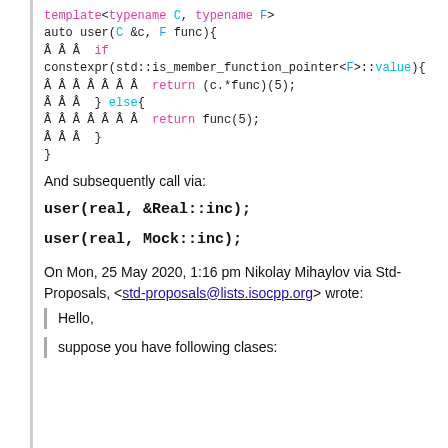template<typename C, typename F>
auto user(C &c, F func){
   if
constexpr(std::is_member_function_pointer<F>::value){
         return (c.*func)(5);
   } else{
         return func(5);
   }
}
And subsequently call via:
user(real, &Real::inc);
user(real, Mock::inc);
On Mon, 25 May 2020, 1:16 pm Nikolay Mihaylov via Std-Proposals, <std-proposals@lists.isocpp.org> wrote:
Hello,
suppose you have following clases: